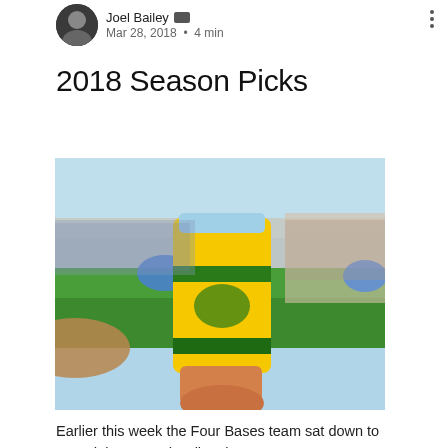Joel Bailey  Admin
Mar 28, 2018  •  4 min
2018 Season Picks
[Figure (photo): A yellow and green branded cup held up at a baseball stadium, with green field and stands visible in the background under a bright sky.]
Earlier this week the Four Bases team sat down to record the second Call to the